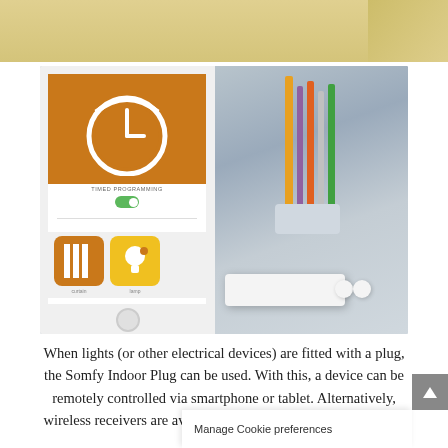[Figure (photo): Top banner with beige/tan textured background, partially visible]
[Figure (photo): Smartphone showing a home automation app with timed programming toggle and icons for curtain and lamp, next to a desk scene with pencils in a cup and a white Somfy Indoor Plug device on a wooden surface]
When lights (or other electrical devices) are fitted with a plug, the Somfy Indoor Plug can be used. With this, a device can be remotely controlled via smartphone or tablet. Alternatively, wireless receivers are available for lighting without a plug. It i
Manage Cookie preferences